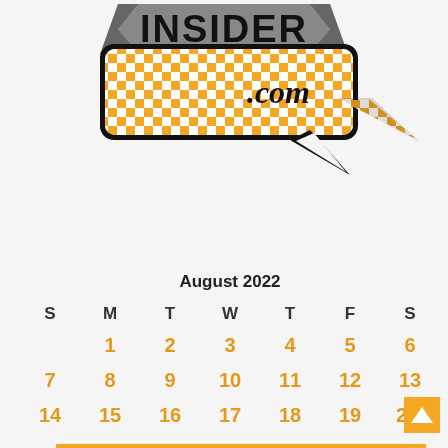[Figure (logo): Insider.com logo with gray ribbon banner showing 'INSIDER' text and orange/white checkerboard speech bubble with '.com' text]
Click on a day to see what you missed!
| S | M | T | W | T | F | S |
| --- | --- | --- | --- | --- | --- | --- |
|  | 1 | 2 | 3 | 4 | 5 | 6 |
| 7 | 8 | 9 | 10 | 11 | 12 | 13 |
| 14 | 15 | 16 | 17 | 18 | 19 | 20 |